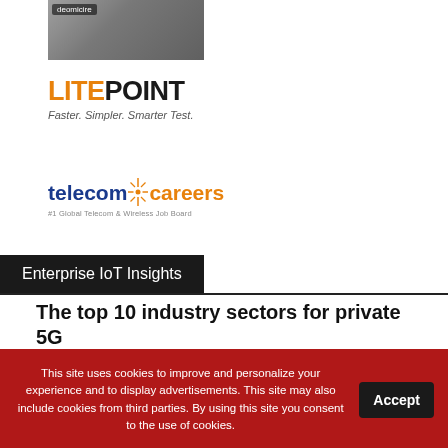[Figure (photo): Hands holding smartphones, banner image for telecom site]
[Figure (logo): LitePoint logo — orange LITE, black POINT. Tagline: Faster. Simpler. Smarter Test.]
[Figure (logo): telecom|careers logo with orange starburst separator, blue telecom text, orange careers text. Subtitle: #1 Global Telecom & Wireless Job Board]
Enterprise IoT Insights
The top 10 industry sectors for private 5G
Nokia reportedly in talks with Adani to deploy 5G private networks
This site uses cookies to improve and personalize your experience and to display advertisements. This site may also include cookies from third parties. By using this site you consent to the use of cookies.